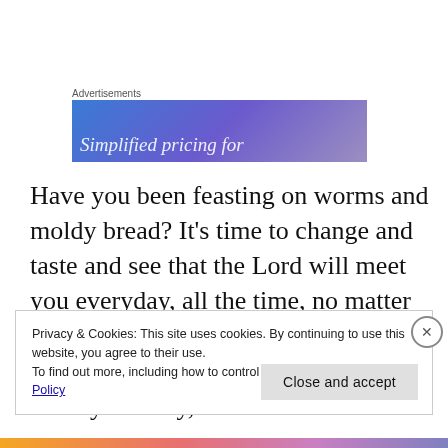Advertisements
[Figure (illustration): Advertisement banner with blue-purple gradient background and partial italic white text reading 'Simplified pricing for']
Have you been feasting on worms and moldy bread? It’s time to change and taste and see that the Lord will meet you everyday, all the time, no matter what your circumstance or situation. Be reminded that “Jesus Christ is the same yesterday,
Privacy & Cookies: This site uses cookies. By continuing to use this website, you agree to their use.
To find out more, including how to control cookies, see here: Cookie Policy